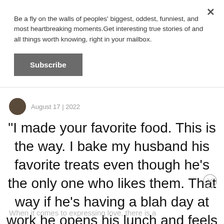Be a fly on the walls of peoples' biggest, oddest, funniest, and most heartbreaking moments.Get interesting true stories of and all things worth knowing, right in your mailbox.
Subscribe
August 17 | 2022
"I made your favorite food. This is the way. I bake my husband his favorite treats even though he’s the only one who likes them. That way if he’s having a blah day at work he opens his lunch and feels love."
When it comes to expressing love, there is a